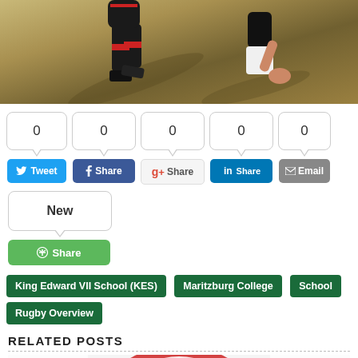[Figure (photo): Rugby players running on a grass field, players wearing black and red uniforms, legs and feet visible with shadows on the ground]
[Figure (infographic): Social share buttons row: Tweet (0), Facebook Share (0), Google+ Share (0), LinkedIn Share (0), Email (0); plus a second row with New (count bubble) and green Share button]
King Edward VII School (KES)
Maritzburg College
School Rugby Overview
RELATED POSTS
[Figure (photo): Partial image of a logo or rugby-related graphic with red and white colors at the bottom of the page]